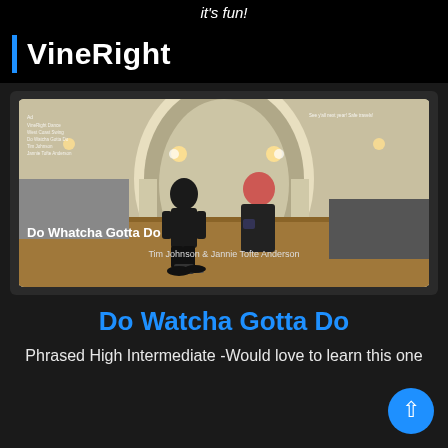it's fun!
VineRight
[Figure (screenshot): Video thumbnail showing two dancers in a ballroom. Title overlay reads 'Do Whatcha Gotta Do' and credit reads 'Tim Johnson & Jannie Tofte Anderson'.]
Do Watcha Gotta Do
Phrased High Intermediate -Would love to learn this one